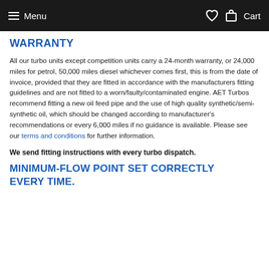Menu  Cart
WARRANTY
All our turbo units except competition units carry a 24-month warranty, or 24,000 miles for petrol, 50,000 miles diesel whichever comes first, this is from the date of invoice, provided that they are fitted in accordance with the manufacturers fitting guidelines and are not fitted to a worn/faulty/contaminated engine. AET Turbos recommend fitting a new oil feed pipe and the use of high quality synthetic/semi-synthetic oil, which should be changed according to manufacturer's recommendations or every 6,000 miles if no guidance is available. Please see our terms and conditions for further information.
We send fitting instructions with every turbo dispatch.
MINIMUM-FLOW POINT SET CORRECTLY EVERY TIME.